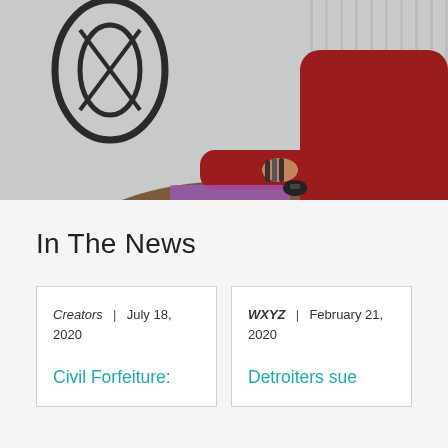[Figure (photo): A woman in a red long-sleeve top sitting at a round table with chairs, papers, and car keys on the table. Background shows vertical blinds.]
In The News
Creators | July 18, 2020
Civil Forfeiture:
WXYZ | February 21, 2020
Detroiters sue